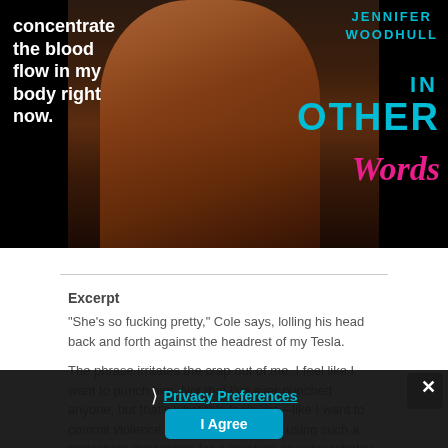[Figure (photo): Book cover for 'In Other Words' by Jennifer Woodhull showing a shirtless male torso on dark background. Title text on left reads 'concentrate the blood flow in my body right now.' in white. Right side shows author name JENNIFER WOODHULL in teal, title IN OTHER WORDS with 'Other' in teal and 'Words' in pink script.]
"She's so fucking pretty," Cole says, lolling his head back and forth against the headrest of my Tesla.
Excerpt
"She's so fucking pretty," Cole says, lolling his head back and forth against the headrest of my Tesla.
The phrase irritates the crap out of me. I feel like I want to punch him. Not that I've ever punched anyone, but that's what this feels like—like I want to commit violence against my friend for using such a pedestrian description for a creature as indescribably spectacular as Clair.
Privacy Preferences
I Agree